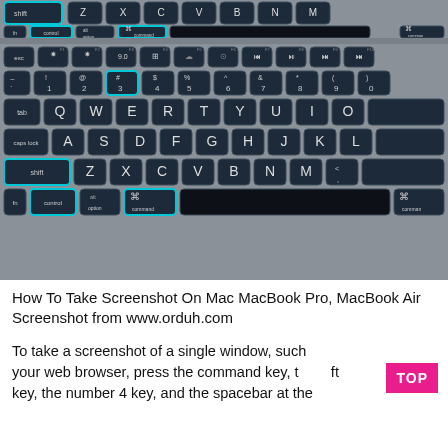[Figure (photo): Mac keyboard photo showing highlighted modifier keys (shift, control, option, command) and the #3 key highlighted with cyan/blue borders. Two rows of keyboards shown (partial top + main keyboard). Background is silver/aluminum Mac laptop.]
How To Take Screenshot On Mac MacBook Pro, MacBook Air Screenshot from www.orduh.com
To take a screenshot of a single window, such your web browser, press the command key, t ft key, the number 4 key, and the spacebar at the